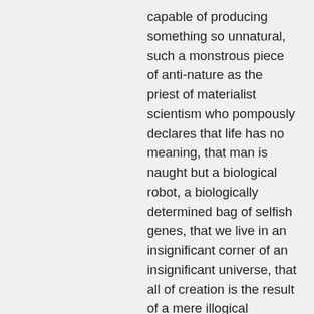capable of producing something so unnatural, such a monstrous piece of anti-nature as the priest of materialist scientism who pompously declares that life has no meaning, that man is naught but a biological robot, a biologically determined bag of selfish genes, that we live in an insignificant corner of an insignificant universe, that all of creation is the result of a mere illogical accident, ad nauseum – is there anything lower that could be said of man and man's existence on earth? Have we not here reached the lowest water mark possible in terms of the conception man? Are there men so degenerate as are capable of regarding themselves as such, as the apes of